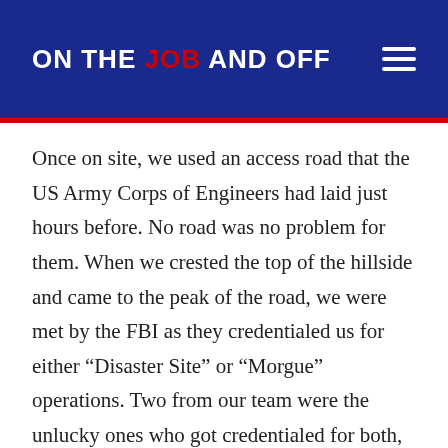ON THE JOB AND OFF
Once on site, we used an access road that the US Army Corps of Engineers had laid just hours before. No road was no problem for them. When we crested the top of the hillside and came to the peak of the road, we were met by the FBI as they credentialed us for either “Disaster Site” or “Morgue” operations. Two from our team were the unlucky ones who got credentialed for both, and I was one of the two. We were to join a larger Pittsburgh-area CISM team to help relieve them of the full CISM support operation. After receiving my credentials, we were given the “speech” from some official person. Basically, they